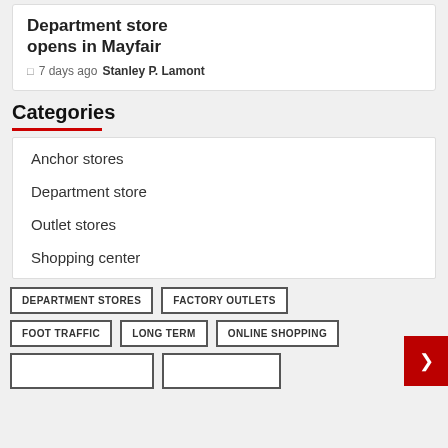Department store opens in Mayfair
7 days ago  Stanley P. Lamont
Categories
Anchor stores
Department store
Outlet stores
Shopping center
DEPARTMENT STORES
FACTORY OUTLETS
FOOT TRAFFIC
LONG TERM
ONLINE SHOPPING